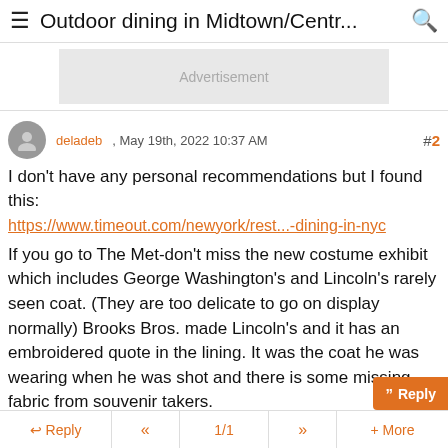≡ Outdoor dining in Midtown/Centr... 🔍
[Figure (other): Advertisement banner placeholder]
deladeb , May 19th, 2022 10:37 AM  #2
I don't have any personal recommendations but I found this:
https://www.timeout.com/newyork/rest...-dining-in-nyc

If you go to The Met-don't miss the new costume exhibit which includes George Washington's and Lincoln's rarely seen coat. (They are too delicate to go on display normally) Brooks Bros. made Lincoln's and it has an embroidered quote in the lining. It was the coat he was wearing when he was shot and there is some missing fabric from souvenir takers.
Reply  «  1/1  »  + More